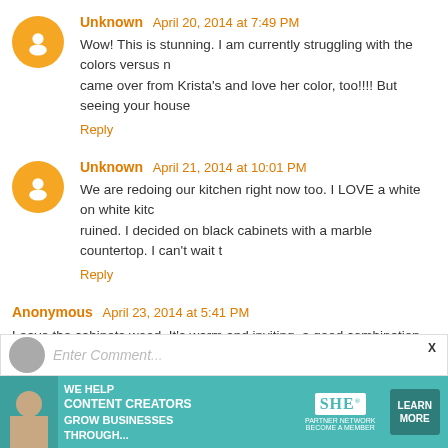Unknown  April 20, 2014 at 7:49 PM
Wow! This is stunning. I am currently struggling with the colors versus n... came over from Krista's and love her color, too!!!! But seeing your house ...
Reply
Unknown  April 21, 2014 at 10:01 PM
We are redoing our kitchen right now too. I LOVE a white on white kitch... ruined. I decided on black cabinets with a marble countertop. I can't wait t...
Reply
Anonymous  April 23, 2014 at 5:41 PM
Leave the cabinets wood. It's warm and inviting, a good combination for... area rugs, etc. If you pull it off well (which I'm sure you'll do amazing) ma...
Reply
[Figure (screenshot): Enter Comment input bar with user avatar placeholder]
[Figure (infographic): SHE Media advertisement banner: WE HELP CONTENT CREATORS GROW BUSINESSES THROUGH... with LEARN MORE button]